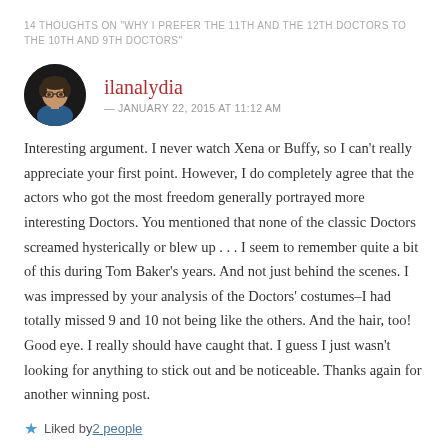14 THOUGHTS ON "WHY I PREFER THE 11TH AND THE 12TH DOCTORS TO THE 10TH AND 9TH DOCTORS"
[Figure (photo): Circular avatar photo of a person wearing glasses and a blue jacket against a dark background]
ilanalydia
— JANUARY 22, 2015 AT 11:12 AM
Interesting argument. I never watch Xena or Buffy, so I can't really appreciate your first point. However, I do completely agree that the actors who got the most freedom generally portrayed more interesting Doctors. You mentioned that none of the classic Doctors screamed hysterically or blew up . . . I seem to remember quite a bit of this during Tom Baker's years. And not just behind the scenes. I was impressed by your analysis of the Doctors' costumes–I had totally missed 9 and 10 not being like the others. And the hair, too! Good eye. I really should have caught that. I guess I just wasn't looking for anything to stick out and be noticeable. Thanks again for another winning post.
Liked by 2 people